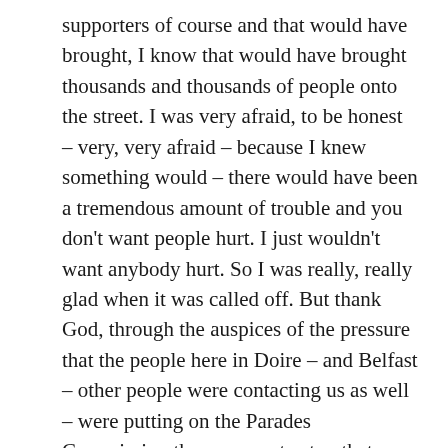supporters of course and that would have brought, I know that would have brought thousands and thousands of people onto the street. I was very afraid, to be honest – very, very afraid – because I knew something would – there would have been a tremendous amount of trouble and you don't want people hurt. I just wouldn't want anybody hurt. So I was really, really glad when it was called off. But thank God, through the auspices of the pressure that the people here in Doire – and Belfast – other people were contacting us as well – were putting on the Parades Commission the pressure to stop that march and obviously they realised then that would have been the sensible thing to do.